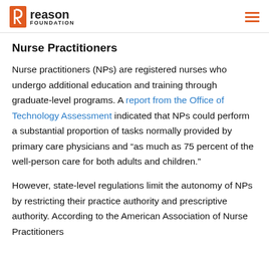Reason Foundation
Nurse Practitioners
Nurse practitioners (NPs) are registered nurses who undergo additional education and training through graduate-level programs. A report from the Office of Technology Assessment indicated that NPs could perform a substantial proportion of tasks normally provided by primary care physicians and “as much as 75 percent of the well-person care for both adults and children.”
However, state-level regulations limit the autonomy of NPs by restricting their practice authority and prescriptive authority. According to the American Association of Nurse Practitioners